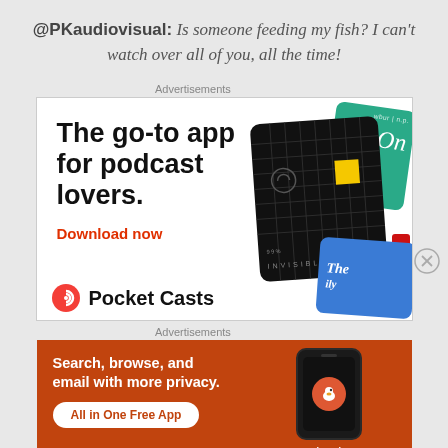@PKaudiovisual: Is someone feeding my fish? I can't watch over all of you, all the time!
Advertisements
[Figure (other): Pocket Casts advertisement: 'The go-to app for podcast lovers. Download now' with podcast app card graphics]
Advertisements
[Figure (other): DuckDuckGo advertisement: 'Search, browse, and email with more privacy. All in One Free App' with phone graphic showing DuckDuckGo logo]